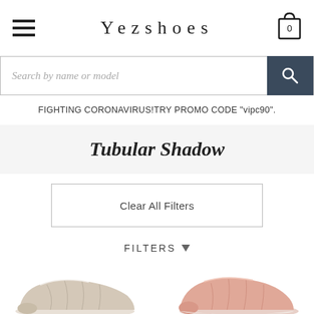Yezshoes
Search by name or model
FIGHTING CORONAVIRUS!TRY PROMO CODE "vipc90".
Tubular Shadow
Clear All Filters
FILTERS
[Figure (photo): Two Adidas Tubular Shadow sneakers partially visible at the bottom of the page — a beige/white one on the left and a pink/salmon one on the right]